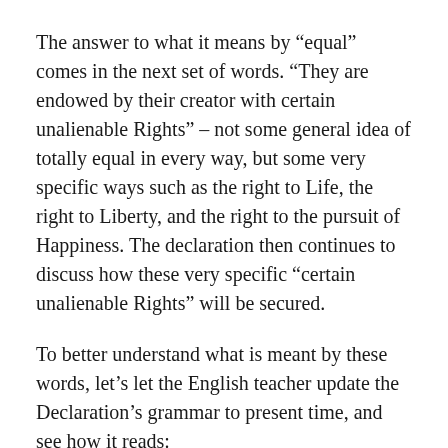The answer to what it means by “equal” comes in the next set of words. “They are endowed by their creator with certain unalienable Rights” – not some general idea of totally equal in every way, but some very specific ways such as the right to Life, the right to Liberty, and the right to the pursuit of Happiness. The declaration then continues to discuss how these very specific “certain unalienable Rights” will be secured.
To better understand what is meant by these words, let’s let the English teacher update the Declaration’s grammar to present time, and see how it reads:
“We hold these truths to be self-evident, that all men are created equal, in that they are endowed by their Creator with certain unalienable Rights, and that among these rights are the right to Life, the right to Liberty, and the right to the pursuit